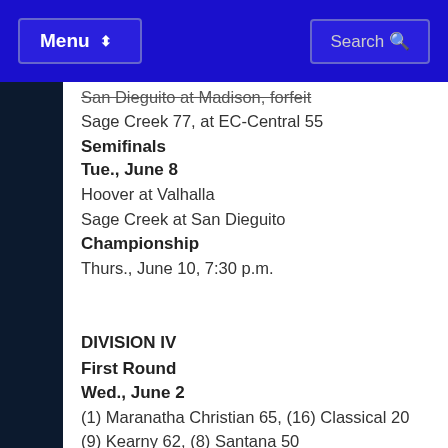Menu | Search
San Dieguito at Madison, forfeit
Sage Creek 77, at EC-Central 55
Semifinals
Tue., June 8
Hoover at Valhalla
Sage Creek at San Dieguito
Championship
Thurs., June 10, 7:30 p.m.
DIVISION IV
First Round
Wed., June 2
(1) Maranatha Christian 65, (16) Classical 20
(9) Kearny 62, (8) Santana 50
(5) SD-High Tech 59, (12) Hilltop 39
(13) San Pasqual 64m (4) Victory Christian 60